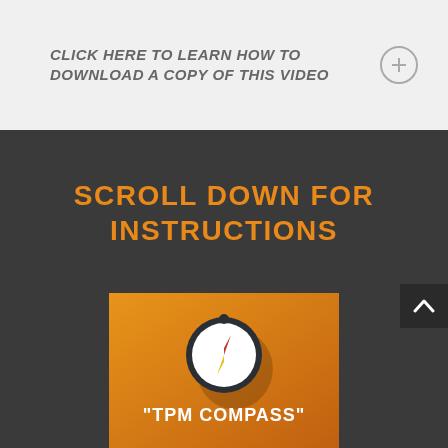CLICK HERE TO LEARN HOW TO DOWNLOAD A COPY OF THIS VIDEO
SCROLL DOWN FOR INSTRUCTIONS
[Figure (screenshot): TPM Compass video thumbnail showing a compass icon on an orange gradient background with the text "TPM COMPASS"]